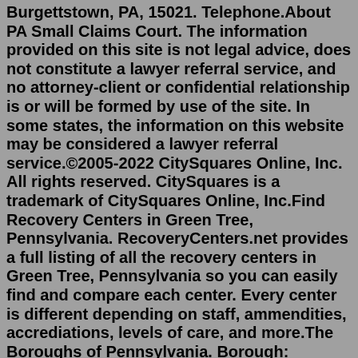Burgettstown, PA, 15021. Telephone.About PA Small Claims Court. The information provided on this site is not legal advice, does not constitute a lawyer referral service, and no attorney-client or confidential relationship is or will be formed by use of the site. In some states, the information on this website may be considered a lawyer referral service.©2005-2022 CitySquares Online, Inc. All rights reserved. CitySquares is a trademark of CitySquares Online, Inc.Find Recovery Centers in Green Tree, Pennsylvania. RecoveryCenters.net provides a full listing of all the recovery centers in Green Tree, Pennsylvania so you can easily find and compare each center. Every center is different depending on staff, ammendities, accrediations, levels of care, and more.The Boroughs of Pennsylvania. Borough: County: Rivertown: Abbottstown: Adams : Adamsburg: Westmoreland : Adamstown: Lancaster death row records net worth 2022 Pennsylvania Campgrounds. Our comprehensive search of campgrounds in Pennsylvania produced 199 results